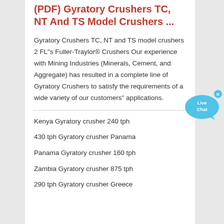(PDF) Gyratory Crushers TC, NT And TS Model Crushers ...
Gyratory Crushers TC, NT and TS model crushers 2 FL"s Fuller-Traylor® Crushers Our experience with Mining Industries (Minerals, Cement, and Aggregate) has resulted in a complete line of Gyratory Crushers to satisfy the requirements of a wide variety of our customers" applications.
[Figure (other): Live Chat button widget — blue speech bubble with 'Live Chat' text and a small X close button]
Kenya Gyratory crusher 240 tph
430 tph Gyratory crusher Panama
Panama Gyratory crusher 160 tph
Zambia Gyratory crusher 875 tph
290 tph Gyratory crusher Greece